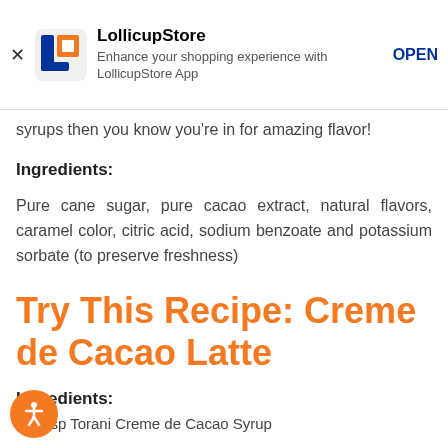LollicupStore — Enhance your shopping experience with LollicupStore App — OPEN
syrups then you know you're in for amazing flavor!
Ingredients:
Pure cane sugar, pure cacao extract, natural flavors, caramel color, citric acid, sodium benzoate and potassium sorbate (to preserve freshness)
Try This Recipe: Creme de Cacao Latte
Ingredients:
2 tbsp Torani Creme de Cacao Syrup